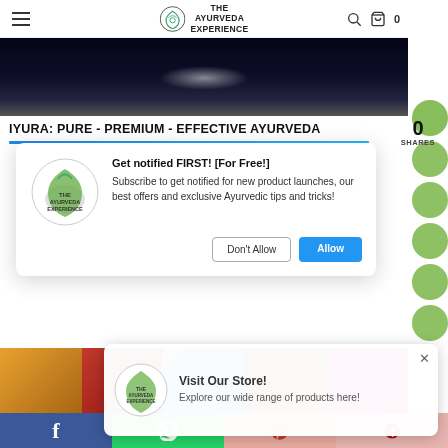The Ayurveda Experience — navigation header with menu, logo, search, and cart (0 items)
[Figure (screenshot): Dark hero image with subtle light reflection]
IYURA: PURE - PREMIUM - EFFECTIVE AYURVEDA
0 SHARES
[Figure (infographic): Notification permission popup: Get notified FIRST! [For Free!] — Subscribe to get notified for new product launches, our best offers and exclusive Ayurvedic tips and tricks! — Buttons: Don't Allow | Allow]
[Figure (photo): Row of product images: floral patterned bags, red product box, blue background product card, glass dropper bottle, pink cosmetics]
[Figure (infographic): Store popup: Visit Our Store! — Explore our wide range of products here! — with Ayurveda Experience logo]
Social share bar: Facebook, WhatsApp, Pinterest, Google+